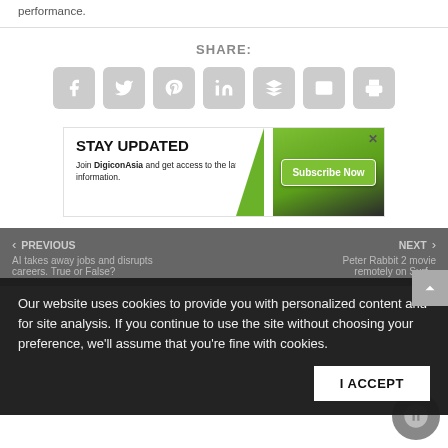performance.
SHARE:
[Figure (infographic): Social share icons row: Facebook, Twitter, Pinterest, LinkedIn, Buffer, Email, Print — all rounded square gray icons with white symbols]
[Figure (infographic): STAY UPDATED banner ad: 'Join DigiconAsia and get access to the latest information.' with green Subscribe Now button and diagonal green graphic on right side, X close button top right]
Our website uses cookies to provide you with personalized content and for site analysis. If you continue to use the site without choosing your preference, we'll assume that you're fine with cookies.
I ACCEPT
< PREVIOUS   AI takes away jobs and disrupts careers. True or False?     NEXT >   Peter Rabbit 2 movie remotely on Surf...